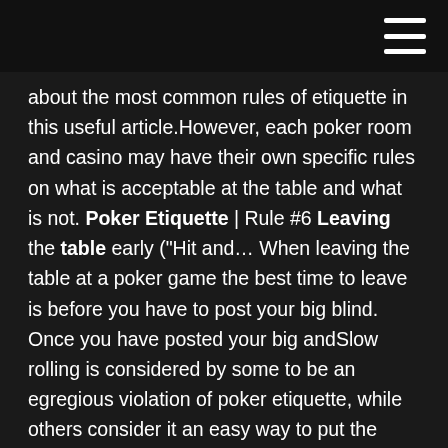about the most common rules of etiquette in this useful article.However, each poker room and casino may have their own specific rules on what is acceptable at the table and what is not. Poker Etiquette | Rule #6 Leaving the table early ("Hit and… When leaving the table at a poker game the best time to leave is before you have to post your big blind. Once you have posted your big andSlow rolling is considered by some to be an egregious violation of poker etiquette, while others consider it an easy way to put the regs at the table on tile. Top-10 poker table etiquette mistakes So the next time you sit down at the poker table, try to remember not to do any of the below actions. Remember, the dealer has spent just as much time or probably a lot more time at the poker table than you. Push